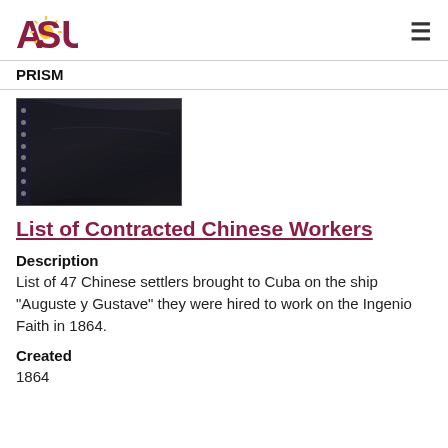ASU Arizona State University | PRISM
[Figure (photo): Dark/black document page thumbnail with punch holes on the left side, shown as a scanned archival document image]
List of Contracted Chinese Workers
Description
List of 47 Chinese settlers brought to Cuba on the ship "Auguste y Gustave" they were hired to work on the Ingenio Faith in 1864.
Created
1864